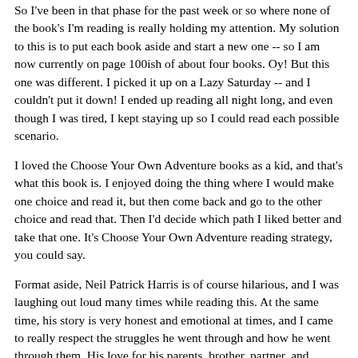So I've been in that phase for the past week or so where none of the book's I'm reading is really holding my attention. My solution to this is to put each book aside and start a new one -- so I am now currently on page 100ish of about four books. Oy! But this one was different. I picked it up on a Lazy Saturday -- and I couldn't put it down! I ended up reading all night long, and even though I was tired, I kept staying up so I could read each possible scenario.
I loved the Choose Your Own Adventure books as a kid, and that's what this book is. I enjoyed doing the thing where I would make one choice and read it, but then come back and go to the other choice and read that. Then I'd decide which path I liked better and take that one. It's Choose Your Own Adventure reading strategy, you could say.
Format aside, Neil Patrick Harris is of course hilarious, and I was laughing out loud many times while reading this. At the same time, his story is very honest and emotional at times, and I came to really respect the struggles he went through and how he went through them. His love for his parents, brother, partner, and children is deep and really sweet to see.
I definitely recommend this one! Because of the format you can read as much or as little as you want. So if you want a quick read, it can be that. If